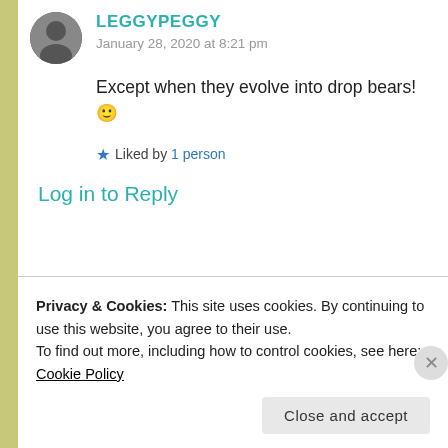LEGGYPEGGY
January 28, 2020 at 8:21 pm
Except when they evolve into drop bears! 🙂
★ Liked by 1 person
Log in to Reply
FORESTWOOD
Privacy & Cookies: This site uses cookies. By continuing to use this website, you agree to their use.
To find out more, including how to control cookies, see here: Cookie Policy
Close and accept